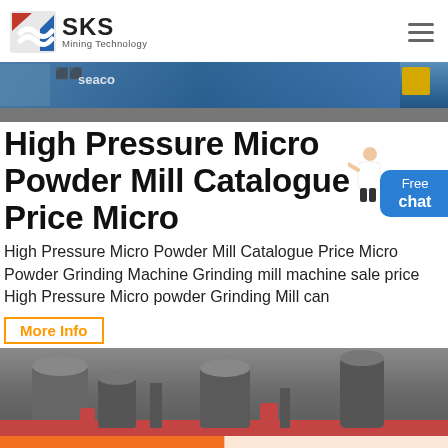[Figure (logo): SKS Mining Technology logo with red and blue geometric icon]
[Figure (photo): Industrial machinery at a port or warehouse, blue crane/equipment with 'seaco' text visible]
High Pressure Micro Powder Mill Catalogue Price Micro
High Pressure Micro Powder Mill Catalogue Price Micro Powder Grinding Machine Grinding mill machine sale price High Pressure Micro powder Grinding Mill can
More Info
[Figure (photo): Industrial grinding mill machinery in a workshop/factory setting, multiple large cylindrical machines visible]
Get a Quote
WhatsApp